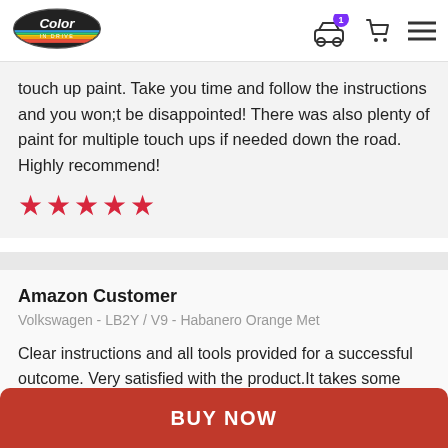Color In Drive — header with logo, car icon with badge '1', cart icon, hamburger menu
touch up paint. Take you time and follow the instructions and you won;t be disappointed! There was also plenty of paint for multiple touch ups if needed down the road. Highly recommend!
[Figure (other): 5 red star rating icons]
Amazon Customer
Volkswagen - LB2Y / V9 - Habanero Orange Met
Clear instructions and all tools provided for a successful outcome. Very satisfied with the product.It takes some time to figure out how to evenly apply the paint (which